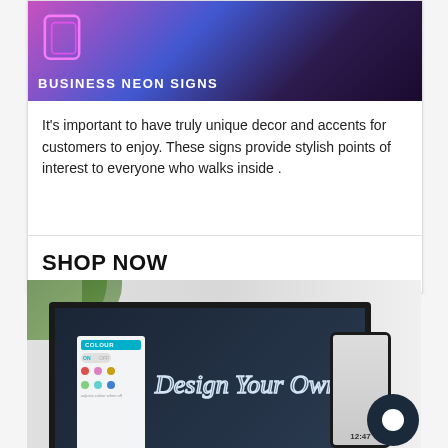[Figure (photo): Business neon signs product card image — glowing neon shapes on a purple/pink gradient background with the text 'BUSINESS NEON SIGNS' overlaid in white bold uppercase.]
It's important to have truly unique decor and accents for customers to enjoy. These signs provide stylish points of interest to everyone who walks inside .
SHOP NOW
[Figure (screenshot): Screenshot of a laptop displaying a neon sign design tool interface with the glowing text 'Design Your Own' visible on screen, alongside a mobile phone showing the same or related interface. A chat bubble icon and plant leaves are visible in the image.]